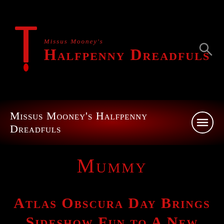[Figure (logo): Missus Mooney's Halfpenny Dreadfuls logo with dripping blood T-shaped graphic and red stylized text title]
Missus Mooney's Halfpenny Dreadfuls
Mummy
Atlas Obscura Day Brings Sideshow Fun to A New Level